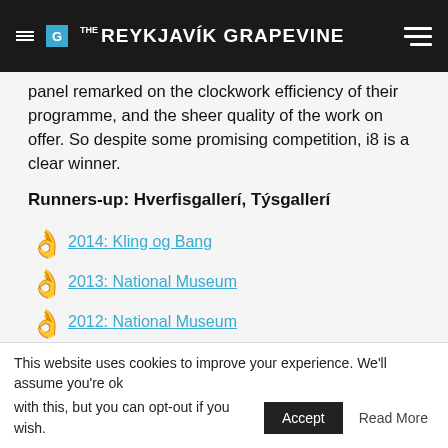THE REYKJAVÍK GRAPEVINE
panel remarked on the clockwork efficiency of their programme, and the sheer quality of the work on offer. So despite some promising competition, i8 is a clear winner.
Runners-up: Hverfisgallerí, Týsgallerí
2014: Kling og Bang
2013: National Museum
2012: National Museum
2011: National Museum 🏛
2010: National Center for Cultural Heritage
This website uses cookies to improve your experience. We'll assume you're ok with this, but you can opt-out if you wish. Accept Read More